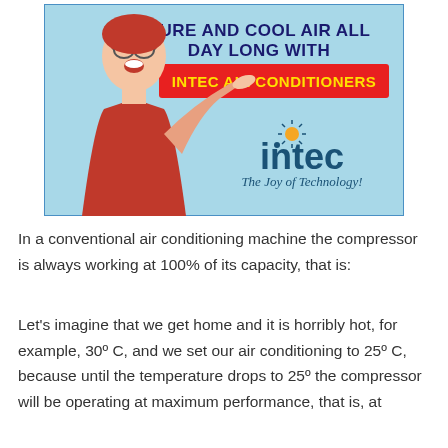[Figure (illustration): Advertisement for Intec Air Conditioners. Shows a woman in a red blouse with glasses and an open-mouthed smile, raising one hand. Blue background. Text: 'PURE AND COOL AIR ALL DAY LONG WITH INTEC AIR CONDITIONERS' in bold yellow text on red banner. Intec logo with tagline 'The Joy of Technology!' on the right.]
In a conventional air conditioning machine the compressor is always working at 100% of its capacity, that is:
Let's imagine that we get home and it is horribly hot, for example, 30º C, and we set our air conditioning to 25º C, because until the temperature drops to 25º the compressor will be operating at maximum performance, that is, at